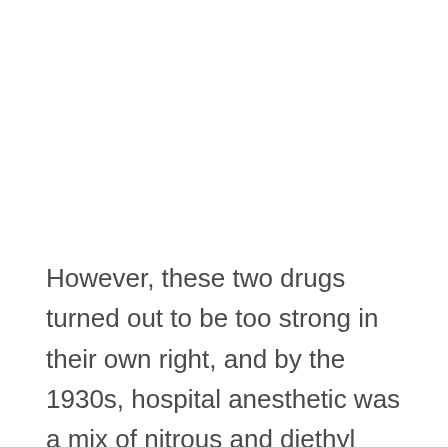However, these two drugs turned out to be too strong in their own right, and by the 1930s, hospital anesthetic was a mix of nitrous and diethyl ether, and it often is today too.